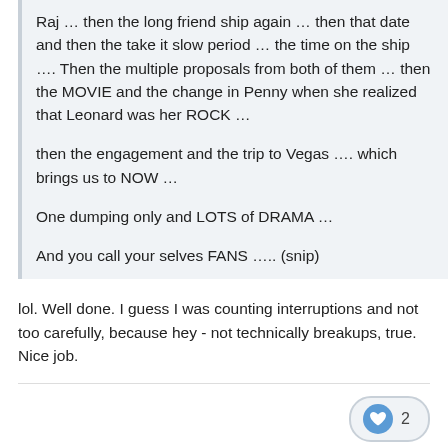Raj … then the long friend ship again … then that date and then the take it slow period  … the time on the ship  …. Then the multiple proposals from both of them … then the MOVIE and the change in Penny when she realized that Leonard was her ROCK …
then the engagement and the trip to Vegas …. which brings us to NOW …
One dumping only and LOTS of DRAMA …
And you call your selves FANS ….. (snip)
lol. Well done. I guess I was counting interruptions and not too carefully, because hey - not technically breakups, true.  Nice job.
2
tallin
Posted August 21,
Posted August 21, 2015